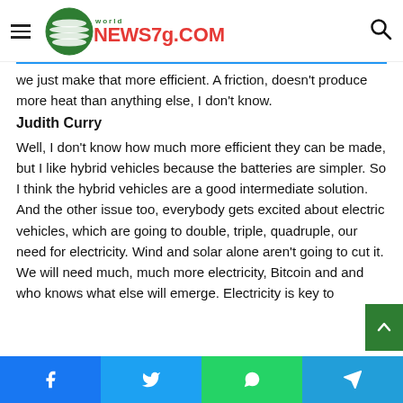world NEWS7g.COM
we just make that more efficient. A friction, doesn't produce more heat than anything else, I don't know.
Judith Curry
Well, I don't know how much more efficient they can be made, but I like hybrid vehicles because the batteries are simpler. So I think the hybrid vehicles are a good intermediate solution. And the other issue too, everybody gets excited about electric vehicles, which are going to double, triple, quadruple, our need for electricity. Wind and solar alone aren't going to cut it. We will need much, much more electricity, Bitcoin and and who knows what else will emerge. Electricity is key to
Facebook Twitter WhatsApp Telegram